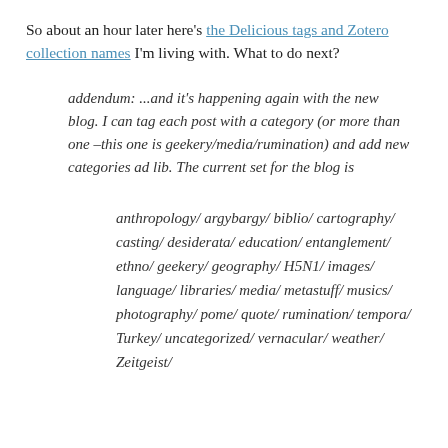So about an hour later here's the Delicious tags and Zotero collection names I'm living with. What to do next?
addendum: ...and it's happening again with the new blog. I can tag each post with a category (or more than one –this one is geekery/media/rumination) and add new categories ad lib. The current set for the blog is
anthropology/ argybargy/ biblio/ cartography/ casting/ desiderata/ education/ entanglement/ ethno/ geekery/ geography/ H5N1/ images/ language/ libraries/ media/ metastuff/ musics/ photography/ pome/ quote/ rumination/ tempora/ Turkey/ uncategorized/ vernacular/ weather/ Zeitgeist/